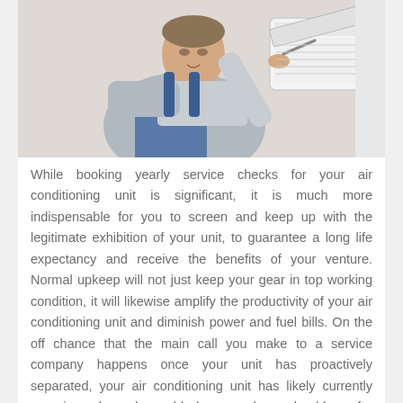[Figure (photo): A technician in blue overalls servicing a wall-mounted air conditioning unit, reaching up to open or clean the unit's cover.]
While booking yearly service checks for your air conditioning unit is significant, it is much more indispensable for you to screen and keep up with the legitimate exhibition of your unit, to guarantee a long life expectancy and receive the benefits of your venture. Normal upkeep will not just keep your gear in top working condition, it will likewise amplify the productivity of your air conditioning unit and diminish power and fuel bills. On the off chance that the main call you make to a service company happens once your unit has proactively separated, your air conditioning unit has likely currently experienced unsalvageable harm, and you should pay for a full replacement. Be that as it may, by booking a preseason investigation and support of your unit, you will recognize little issues, like obstructed curls and channels, from the get-go and save the cost of issues or a full replacement. As